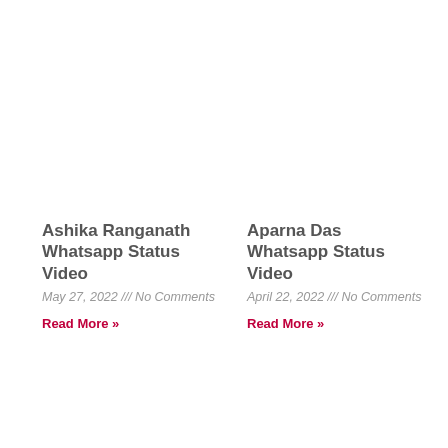Ashika Ranganath Whatsapp Status Video
May 27, 2022 /// No Comments
Read More »
Aparna Das Whatsapp Status Video
April 22, 2022 /// No Comments
Read More »